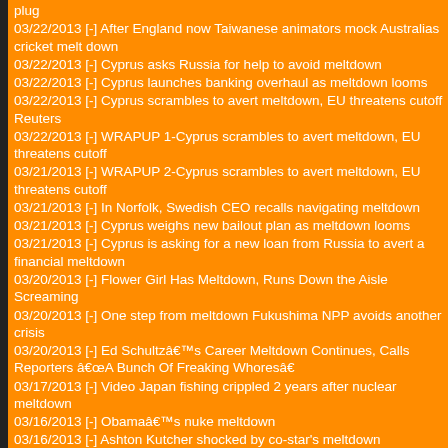plug
03/22/2013 [-] After England now Taiwanese animators mock Australias cricket melt down
03/22/2013 [-] Cyprus asks Russia for help to avoid meltdown
03/22/2013 [-] Cyprus launches banking overhaul as meltdown looms
03/22/2013 [-] Cyprus scrambles to avert meltdown, EU threatens cutoff Reuters
03/22/2013 [-] WRAPUP 1-Cyprus scrambles to avert meltdown, EU threatens cutoff
03/21/2013 [-] WRAPUP 2-Cyprus scrambles to avert meltdown, EU threatens cutoff
03/21/2013 [-] In Norfolk, Swedish CEO recalls navigating meltdown
03/21/2013 [-] Cyprus weighs new bailout plan as meltdown looms
03/21/2013 [-] Cyprus is asking for a new loan from Russia to avert a financial meltdown
03/20/2013 [-] Flower Girl Has Meltdown, Runs Down the Aisle Screaming
03/20/2013 [-] One step from meltdown Fukushima NPP avoids another crisis
03/20/2013 [-] Ed Schultzâs Career Meltdown Continues, Calls Reporters âA Bunch Of Freaking Whoresâ
03/17/2013 [-] Video Japan fishing crippled 2 years after nuclear meltdown
03/16/2013 [-] Obamaâs nuke meltdown
03/16/2013 [-] Ashton Kutcher shocked by co-star's meltdown
03/11/2013 [-] US Navy sailors blame Fukushima meltdown for giving them lasting ailments
03/11/2013 [-] Navy vets say Fukushima meltdown made them sick